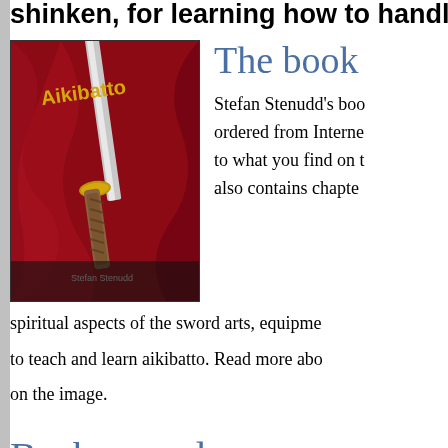shinken, for learning how to handle the s
[Figure (photo): Book cover of 'Aikibatto' by Stefan Stenudd, showing a Japanese sword (katana) against a red silk background]
The book
Stefan Stenudd's boo ordered from Interne to what you find on t also contains chapte spiritual aspects of the sword arts, equipme to teach and learn aikibatto. Read more abo on the image.
Background
Explanations on how and why the Aikibatto